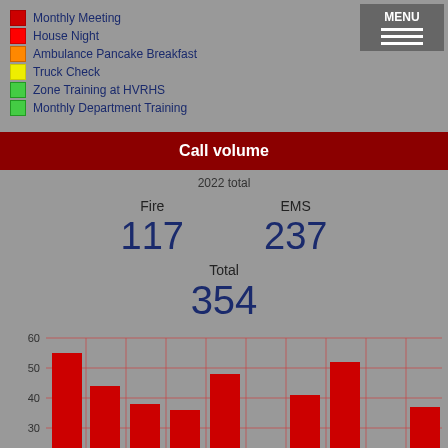Monthly Meeting
House Night
Ambulance Pancake Breakfast
Truck Check
Zone Training at HVRHS
Monthly Department Training
Call volume
2022 total
Fire
117
EMS
237
Total
354
[Figure (bar-chart): Call volume by month]